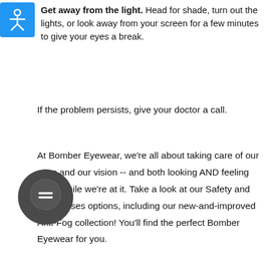Get away from the light. Head for shade, turn out the lights, or look away from your screen for a few minutes to give your eyes a break.
If the problem persists, give your doctor a call.
At Bomber Eyewear, we're all about taking care of our eyes and our vision -- and both looking AND feeling great while we're at it. Take a look at our Safety and Sunglasses options, including our new-and-improved Anti-Fog collection! You'll find the perfect Bomber Eyewear for you.
[Figure (illustration): Dark gray circular chat bubble icon with a speech bubble containing two horizontal lines (equals sign style)]